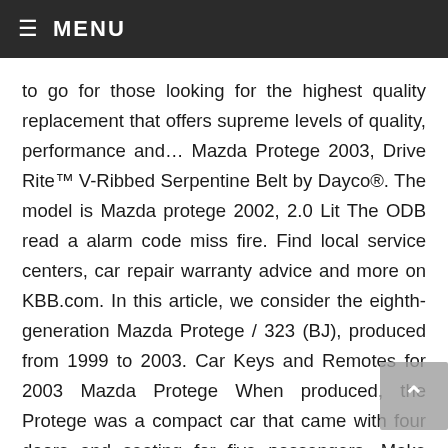≡ MENU
to go for those looking for the highest quality replacement that offers supreme levels of quality, performance and… Mazda Protege 2003, Drive Rite™ V-Ribbed Serpentine Belt by Dayco®. The model is Mazda protege 2002, 2.0 Lit The ODB read a alarm code miss fire. Find local service centers, car repair warranty advice and more on KBB.com. In this article, we consider the eighth-generation Mazda Protege / 323 (BJ), produced from 1999 to 2003. Car Keys and Remotes for 2003 Mazda Protege When produced, the Protege was a compact car that came with four doors and seating for five passengers. Make sure to check your engine when it is cold for an accurate reading. Thanks to its polychloroprene cover, glass… Mazda Protege 2003, PermaDry™ Molded Rubber Valve Cover Gasket Set by Fel-Pro®. Delphi sensors use the Hall Effect or magneto resistive (MR) principles for accurate and clean signal input